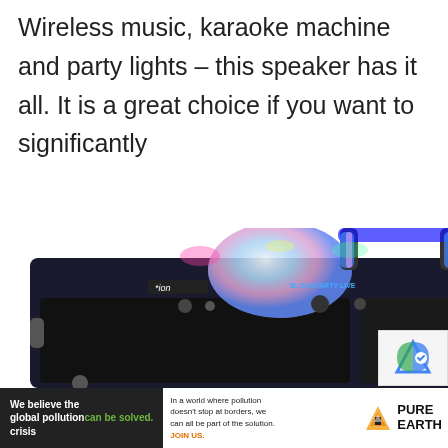Wireless music, karaoke machine and party lights – this speaker has it all. It is a great choice if you want to significantly
[Figure (photo): ION BlockParty Live portable Bluetooth speaker with disco ball light on top, colorful LED light tubes on a telescoping handle, shown against a white background]
[Figure (logo): reCAPTCHA logo icon in bottom right corner]
We believe the global pollution crisis can be solved. In a world where pollution doesn't stop at borders, we can all be part of the solution. JOIN US. PURE EARTH